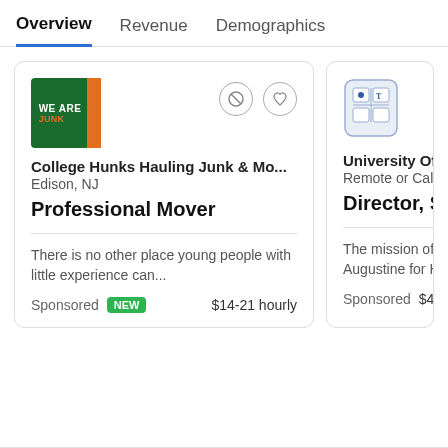Overview  Revenue  Demographics
[Figure (screenshot): Job listing card for College Hunks Hauling Junk & Mo... in Edison, NJ. Job title: Professional Mover. Description: There is no other place young people with little experience can... Sponsored, NEW badge, $14-21 hourly.]
[Figure (screenshot): Partially visible job listing card for University Of St. Aug... Remote or California. Job title: Director, Studen... Sponsored, $47k...]